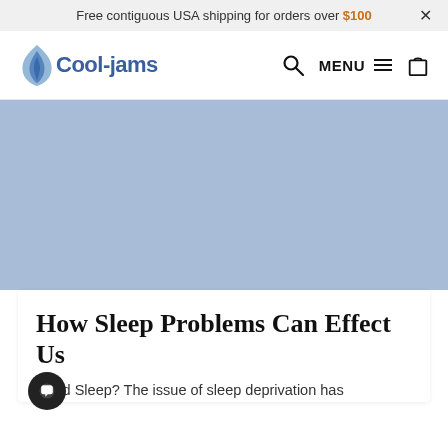Free contiguous USA shipping for orders over $100
[Figure (logo): Cool-jams logo with blue sail/flame icon and blue text 'Cool-jams']
[Figure (screenshot): Blue hero image area placeholder]
How Sleep Problems Can Effect Us
Need Sleep? The issue of sleep deprivation has